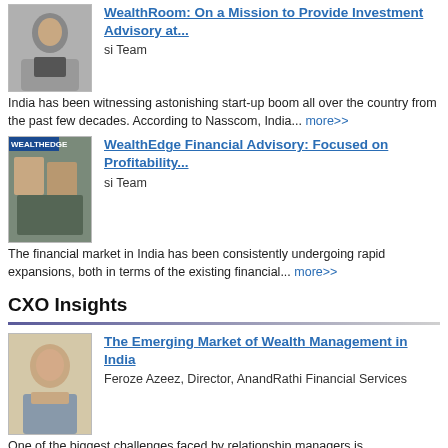[Figure (photo): Headshot of a man in suit with glasses]
WealthRoom: On a Mission to Provide Investment Advisory at...
si Team
India has been witnessing astonishing start-up boom all over the country from the past few decades. According to Nasscom, India... more>>
[Figure (photo): WealthEdge office photo with two men]
WealthEdge Financial Advisory: Focused on Profitability...
si Team
The financial market in India has been consistently undergoing rapid expansions, both in terms of the existing financial... more>>
CXO Insights
[Figure (photo): Headshot of Feroze Azeez, a man in professional attire]
The Emerging Market of Wealth Management in India
Feroze Azeez, Director, AnandRathi Financial Services
One of the biggest challenges faced by relationship managers is